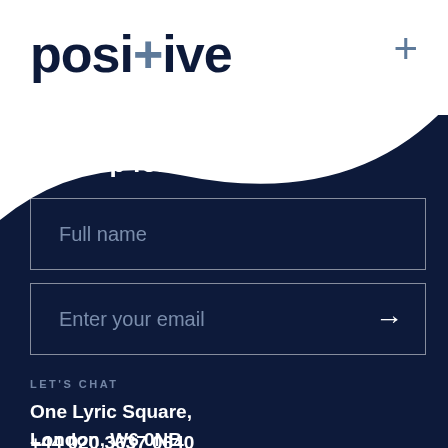[Figure (logo): Positive company logo with cross/plus symbol integrated into the word 'positive', dark navy text on white background, with a grey plus sign in the top right corner]
Sign up for our
Full name
Enter your email
LET'S CHAT
One Lyric Square,
London, W6 0NB
+44 020 3637 0640